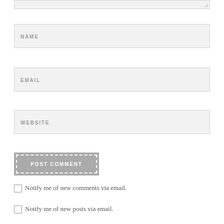[Figure (screenshot): Textarea input stub (top portion cut off) with resize handle]
NAME
EMAIL
WEBSITE
POST COMMENT
Notify me of new comments via email.
Notify me of new posts via email.